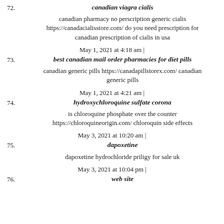72. canadian viagra cialis
canadian pharmacy no perscription generic cialis https://canadacialisstore.com/ do you need prescription for canadian prescription of cialis in usa
May 1, 2021 at 4:18 am |
73. best canadian mail order pharmacies for diet pills
canadian generic pills https://canadapillstorex.com/ canadian generic pills
May 1, 2021 at 4:21 am |
74. hydroxychloroquine sulfate corona
is chloroquine phosphate over the counter https://chloroquineorigin.com/ chloroquin side effects
May 3, 2021 at 10:20 am |
75. dapoxetine
dapoxetine hydrochloride priligy for sale uk
May 3, 2021 at 10:04 pm |
76. web site